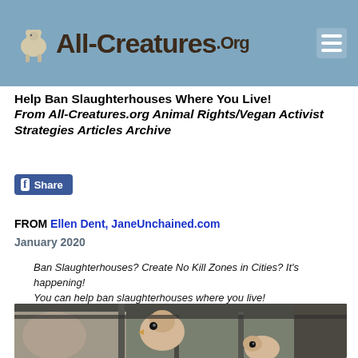All-Creatures.Org
Help Ban Slaughterhouses Where You Live!
From All-Creatures.org Animal Rights/Vegan Activist Strategies Articles Archive
[Figure (other): Facebook Share button]
FROM Ellen Dent, JaneUnchained.com
January 2020
Ban Slaughterhouses? Create No Kill Zones in Cities? It’s happening! You can help ban slaughterhouses where you live!
[Figure (photo): Chickens sticking their heads through metal bars of a cage or truck, close-up photo]